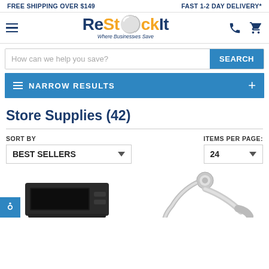FREE SHIPPING OVER $149    FAST 1-2 DAY DELIVERY*
[Figure (logo): ReStockIt logo with tagline 'Where Businesses Save', hamburger menu icon, phone icon, and cart icon]
How can we help you save?
NARROW RESULTS
Store Supplies (42)
SORT BY: BEST SELLERS    ITEMS PER PAGE: 24
[Figure (photo): Two product thumbnails partially visible at bottom of page: a dark electronic device on the left and a silver metallic fixture on the right]